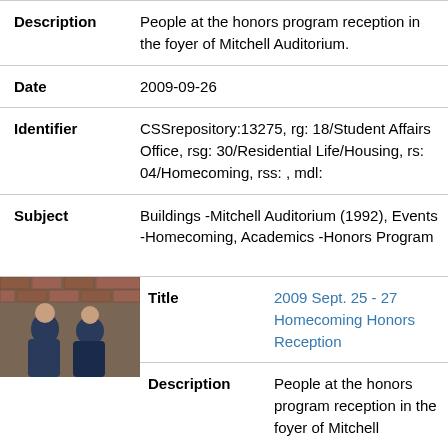| Field | Value |
| --- | --- |
| Description | People at the honors program reception in the foyer of Mitchell Auditorium. |
| Date | 2009-09-26 |
| Identifier | CSSrepository:13275, rg: 18/Student Affairs Office, rsg: 30/Residential Life/Housing, rs: 04/Homecoming, rss: , mdl: |
| Subject | Buildings -Mitchell Auditorium (1992), Events -Homecoming, Academics -Honors Program |
[Figure (photo): Thumbnail photo of two people sitting in front of a brick wall, wearing sweatshirts.]
| Field | Value |
| --- | --- |
| Title | 2009 Sept. 25 - 27 Homecoming Honors Reception |
| Description | People at the honors program reception in the foyer of Mitchell |